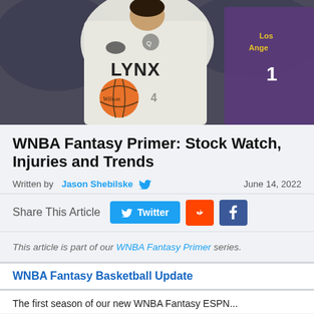[Figure (photo): WNBA basketball game photo: player in Minnesota Lynx white jersey dribbling a Wilson basketball, with a Los Angeles player in purple jersey number 1 visible in background]
WNBA Fantasy Primer: Stock Watch, Injuries and Trends
Written by Jason Shebilske   June 14, 2022
Share This Article  Twitter  Reddit  Facebook
This article is part of our WNBA Fantasy Primer series.
WNBA Fantasy Basketball Update
The first season of our new WNBA Fantasy ESPN...